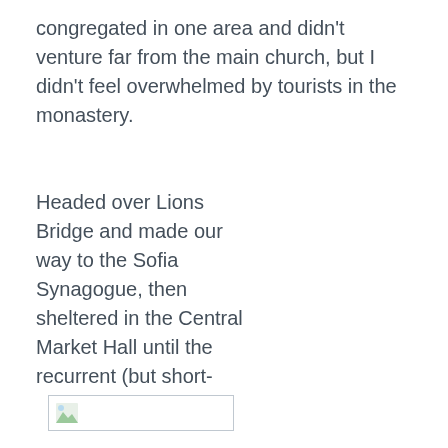congregated in one area and didn't venture far from the main church, but I didn't feel overwhelmed by tourists in the monastery.
Headed over Lions Bridge and made our way to the Sofia Synagogue, then sheltered in the Central Market Hall until the recurrent (but short-
[Figure (photo): Broken/missing image placeholder shown as a small image icon inside a rectangular border]